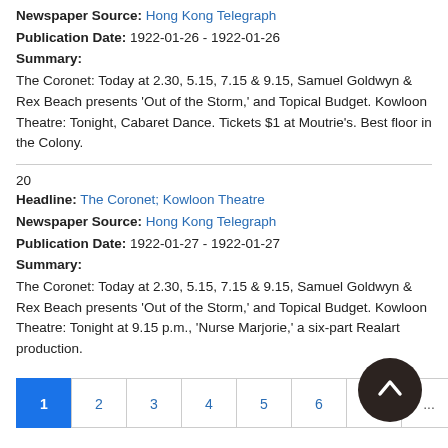Newspaper Source: Hong Kong Telegraph
Publication Date: 1922-01-26 - 1922-01-26
Summary:
The Coronet: Today at 2.30, 5.15, 7.15 & 9.15, Samuel Goldwyn & Rex Beach presents 'Out of the Storm,' and Topical Budget. Kowloon Theatre: Tonight, Cabaret Dance. Tickets $1 at Moutrie's. Best floor in the Colony.
20
Headline: The Coronet; Kowloon Theatre
Newspaper Source: Hong Kong Telegraph
Publication Date: 1922-01-27 - 1922-01-27
Summary:
The Coronet: Today at 2.30, 5.15, 7.15 & 9.15, Samuel Goldwyn & Rex Beach presents 'Out of the Storm,' and Topical Budget. Kowloon Theatre: Tonight at 9.15 p.m., 'Nurse Marjorie,' a six-part Realart production.